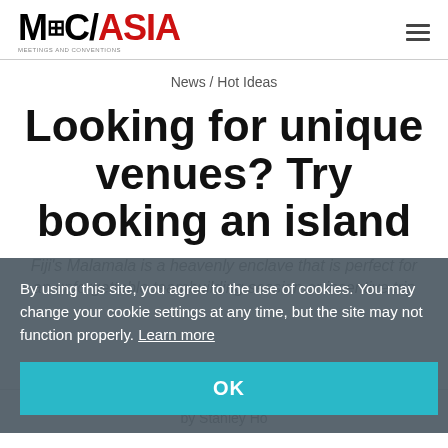MC/ASIA MEETINGS AND CONVENTIONS
News / Hot Ideas
Looking for unique venues? Try booking an island
Fiji's Malamala is a heavenly enclave that is perfect for an unforgettable teambuilding session or incentive trip
By using this site, you agree to the use of cookies. You may change your cookie settings at any time, but the site may not function properly. Learn more
OK
by Stanley Ho